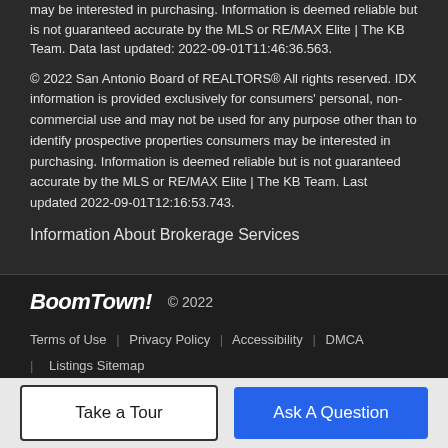may be interested in purchasing. Information is deemed reliable but is not guaranteed accurate by the MLS or RE/MAX Elite | The KB Team. Data last updated: 2022-09-01T11:46:36.563.
© 2022 San Antonio Board of REALTORS® All rights reserved. IDX information is provided exclusively for consumers' personal, non-commercial use and may not be used for any purpose other than to identify prospective properties consumers may be interested in purchasing. Information is deemed reliable but is not guaranteed accurate by the MLS or RE/MAX Elite | The KB Team. Last updated 2022-09-01T12:16:53.743.
Information About Brokerage Services
BoomTown! © 2022
Terms of Use | Privacy Policy | Accessibility | DMCA | Listings Sitemap
Take a Tour
Ask A Question